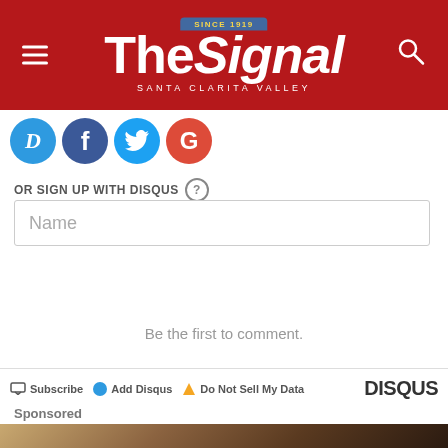The Signal — Santa Clarita Valley
[Figure (logo): The Signal newspaper logo with red background, hamburger menu icon on left, magnifying glass search icon on right, 'SINCE 1919' banner above logo text]
[Figure (infographic): Four social login icons: Disqus (blue D), Facebook (blue f), Twitter (blue bird), Google (red G)]
OR SIGN UP WITH DISQUS ?
Name
Be the first to comment.
Subscribe  Add Disqus  Do Not Sell My Data  DISQUS
Sponsored
[Figure (photo): Sponsored content image showing sandy/desert terrain with dark objects]